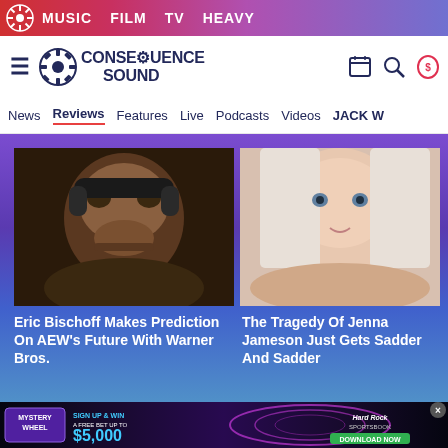MUSIC  FILM  TV  HEAVY
[Figure (screenshot): Consequence Sound website logo with gear icon]
News  Reviews  Features  Live  Podcasts  Videos  JACK W...
[Figure (photo): Man wearing headphones, close-up face shot - Eric Bischoff]
[Figure (photo): Blonde woman close-up face shot - Jenna Jameson]
Eric Bischoff Makes Prediction On AEW's Future With Warner Bros.
The Tragedy Of Jenna Jameson Just Gets Sadder And Sadder
[Figure (infographic): Hard Rock Sportsbook ad - Mystery Wheel Sign Up & Win A Free Bet Up To $5,000]